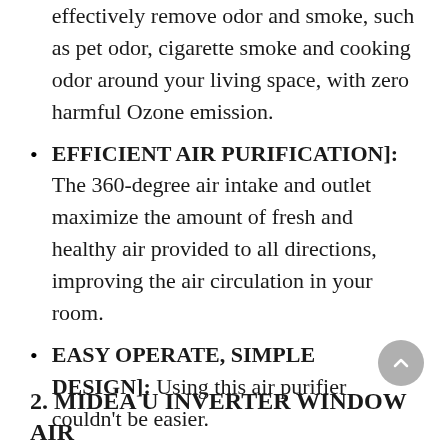effectively remove odor and smoke, such as pet odor, cigarette smoke and cooking odor around your living space, with zero harmful Ozone emission.
EFFICIENT AIR PURIFICATION]: The 360-degree air intake and outlet maximize the amount of fresh and healthy air provided to all directions, improving the air circulation in your room.
EASY OPERATE, SIMPLE DESIGN]: Using this air purifier couldn't be easier.
WHISPER QUIET, ENERGY-SAVING]: At quiet mode, the noise is controlled with our unique noise-reducing fan blade design.
2. MIDEA U INVERTER WINDOW AIR